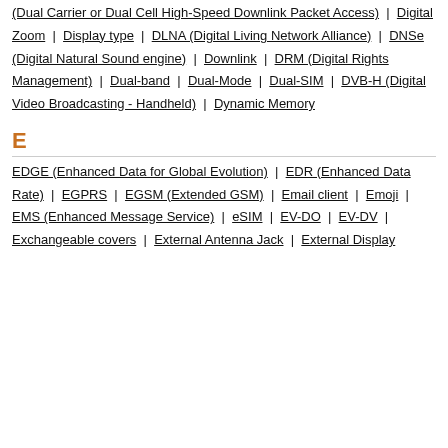(Dual Carrier or Dual Cell High-Speed Downlink Packet Access) | Digital Zoom | Display type | DLNA (Digital Living Network Alliance) | DNSe (Digital Natural Sound engine) | Downlink | DRM (Digital Rights Management) | Dual-band | Dual-Mode | Dual-SIM | DVB-H (Digital Video Broadcasting - Handheld) | Dynamic Memory
E
EDGE (Enhanced Data for Global Evolution) | EDR (Enhanced Data Rate) | EGPRS | EGSM (Extended GSM) | Email client | Emoji | EMS (Enhanced Message Service) | eSIM | EV-DO | EV-DV | Exchangeable covers | External Antenna Jack | External Display